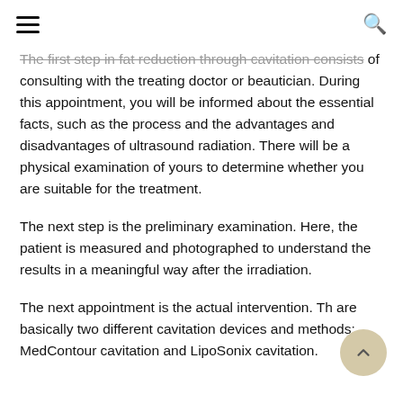☰   🔍
The first step in fat reduction through cavitation consists of consulting with the treating doctor or beautician. During this appointment, you will be informed about the essential facts, such as the process and the advantages and disadvantages of ultrasound radiation. There will be a physical examination of yours to determine whether you are suitable for the treatment.
The next step is the preliminary examination. Here, the patient is measured and photographed to understand the results in a meaningful way after the irradiation.
The next appointment is the actual intervention. There are basically two different cavitation devices and methods: MedContour cavitation and LipoSonix cavitation.